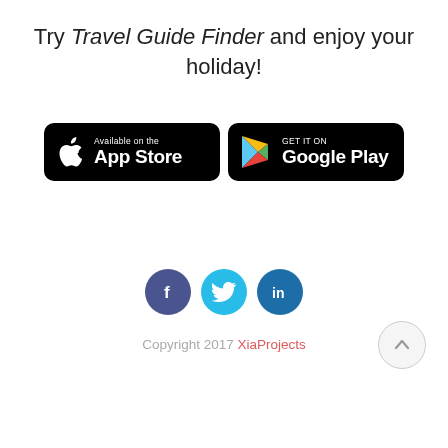Try Travel Guide Finder and enjoy your holiday!
[Figure (logo): App Store and Google Play download badges side by side on black rounded rectangles]
[Figure (infographic): Three social media icons: Facebook (dark blue circle with f), Twitter (cyan circle with bird), LinkedIn (blue circle with in)]
Copyright 2017 XiaProjects